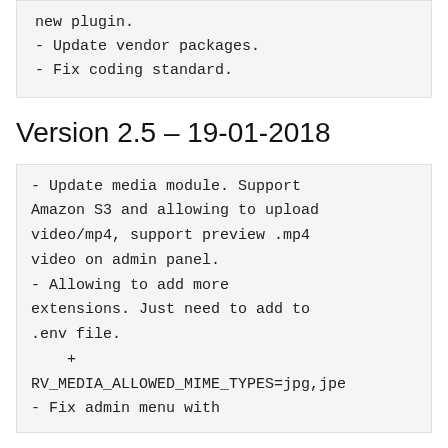new plugin.
- Update vendor packages.
- Fix coding standard.
Version 2.5 – 19-01-2018
- Update media module. Support Amazon S3 and allowing to upload video/mp4, support preview .mp4 video on admin panel.
- Allowing to add more extensions. Just need to add to .env file.
    +
RV_MEDIA_ALLOWED_MIME_TYPES=jpg,jpe
- Fix admin menu with